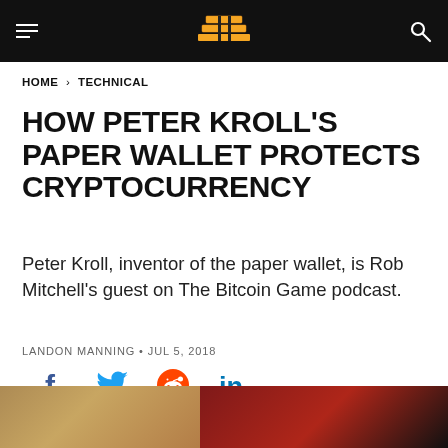HOME > TECHNICAL
HOW PETER KROLL'S PAPER WALLET PROTECTS CRYPTOCURRENCY
Peter Kroll, inventor of the paper wallet, is Rob Mitchell's guest on The Bitcoin Game podcast.
LANDON MANNING • JUL 5, 2018
[Figure (other): Social share icons: Facebook, Twitter, Reddit, LinkedIn]
[Figure (photo): Bottom image strip showing partial podcast or article imagery on dark background]